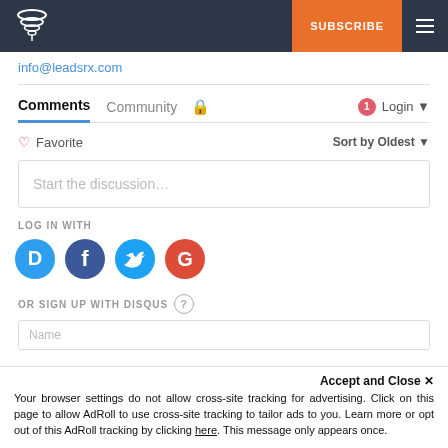SUBSCRIBE
info@leadsrx.com
Comments  Community  Login
Favorite  Sort by Oldest
Start the discussion…
LOG IN WITH
[Figure (illustration): Social login icons: Disqus (blue speech bubble with D), Facebook (blue circle with f), Twitter (blue circle with bird), Google (red circle with G)]
OR SIGN UP WITH DISQUS ?
NAME
Accept and Close ×
Your browser settings do not allow cross-site tracking for advertising. Click on this page to allow AdRoll to use cross-site tracking to tailor ads to you. Learn more or opt out of this AdRoll tracking by clicking here. This message only appears once.